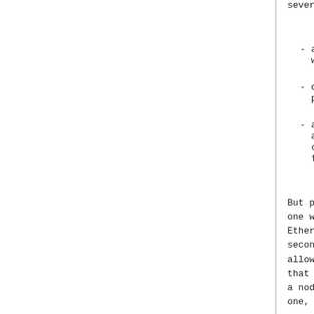several network management
- a node can be moved fr
  without changing any n
- one level of binding t
  particularly noticeabl
- a node that is attache
  attachment point name
  communication among in
  finding.
But permanent binding also
one wants one node to conn
Ethernet. The curiosity an
second attachment point in
allow the node to use two
that some other network re
a node name) will likely b
one, but two nodes. To avo